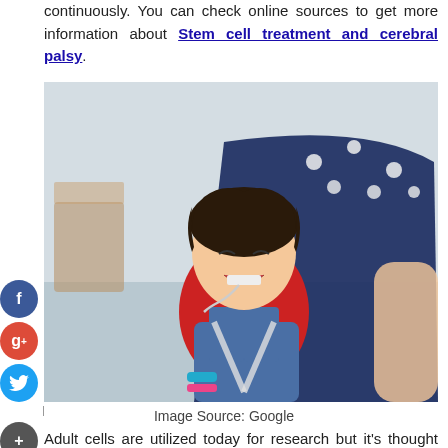continuously. You can check online sources to get more information about Stem cell treatment and cerebral palsy.
[Figure (photo): A smiling child with cerebral palsy sitting in a stroller/wheelchair, wearing a red shirt and denim overalls, with medical devices attached. A caregiver in a navy polka-dot outfit stands behind.]
Image Source: Google
Adult cells are utilized today for research but it's thought that